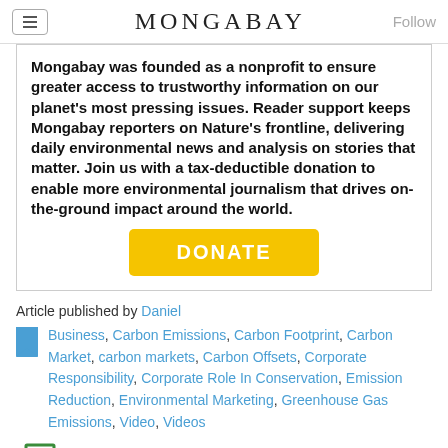MONGABAY
Mongabay was founded as a nonprofit to ensure greater access to trustworthy information on our planet's most pressing issues. Reader support keeps Mongabay reporters on Nature's frontline, delivering daily environmental news and analysis on stories that matter. Join us with a tax-deductible donation to enable more environmental journalism that drives on-the-ground impact around the world.
Article published by Daniel
Business, Carbon Emissions, Carbon Footprint, Carbon Market, carbon markets, Carbon Offsets, Corporate Responsibility, Corporate Role In Conservation, Emission Reduction, Environmental Marketing, Greenhouse Gas Emissions, Video, Videos